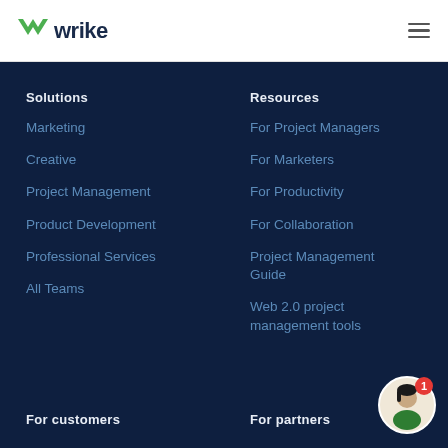wrike
Solutions
Marketing
Creative
Project Management
Product Development
Professional Services
All Teams
Resources
For Project Managers
For Marketers
For Productivity
For Collaboration
Project Management Guide
Web 2.0 project management tools
For customers
For partners